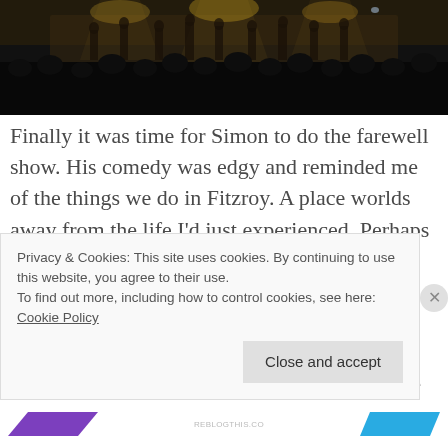[Figure (photo): Dark photo of a stage performance with audience silhouettes visible, stage lighting from above, performers on a lit stage in the background]
Finally it was time for Simon to do the farewell show. His comedy was edgy and reminded me of the things we do in Fitzroy. A place worlds away from the life I'd just experienced. Perhaps gently easing me back home.
After the applause ended the performers, some crew and lastly the Captain got on stage and we all
Privacy & Cookies: This site uses cookies. By continuing to use this website, you agree to their use.
To find out more, including how to control cookies, see here: Cookie Policy
Close and accept